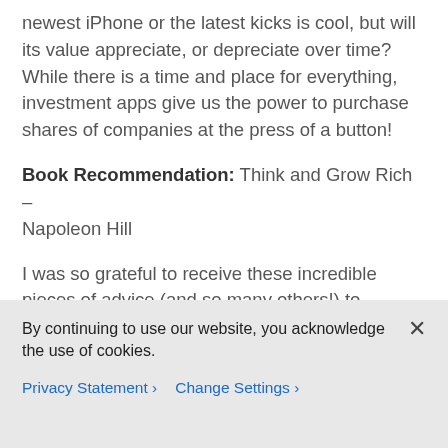newest iPhone or the latest kicks is cool, but will its value appreciate, or depreciate over time? While there is a time and place for everything, investment apps give us the power to purchase shares of companies at the press of a button!
Book Recommendation: Think and Grow Rich – Napoleon Hill
I was so grateful to receive these incredible pieces of advice (and so many others!) to celebrate my 21st birthday and first year at Cisco. I cannot wait to put these to work and continue to grow.
By continuing to use our website, you acknowledge the use of cookies.
Privacy Statement > Change Settings >